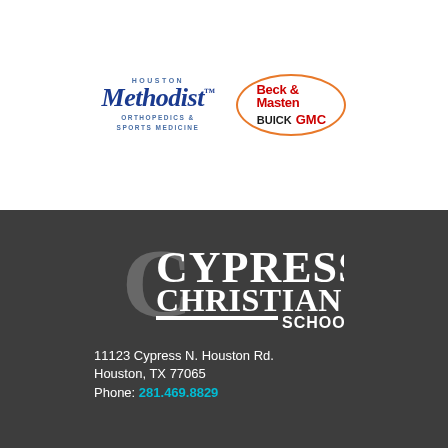[Figure (logo): Houston Methodist Orthopedics & Sports Medicine logo — blue serif text]
[Figure (logo): Beck & Masten Buick GMC logo — orange oval border with red and black text]
[Figure (logo): Cypress Christian School logo — white text on dark grey background]
11123 Cypress N. Houston Rd.
Houston, TX 77065
Phone: 281.469.8829